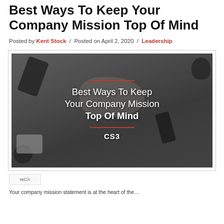Best Ways To Keep Your Company Mission Top Of Mind
Posted by Kent Stock / Posted on April 2, 2020 / Leadership
[Figure (photo): Overhead photo of business people reaching hands together over a desk with smartphones, papers, coffee cups. Overlaid text reads: Best Ways To Keep Your Company Mission Top Of Mind, with CS3 logo and red horizontal lines above and below the bold text.]
reCA